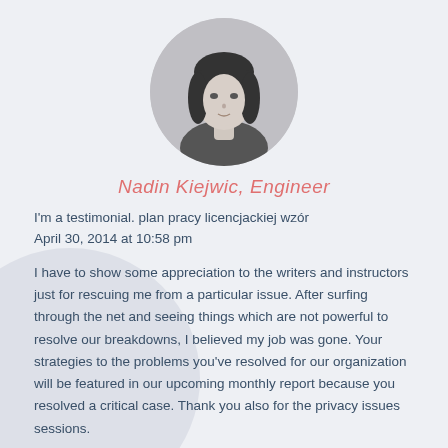[Figure (photo): Circular profile photo of a woman with dark hair and bangs, black and white]
Nadin Kiejwic, Engineer
I'm a testimonial. plan pracy licencjackiej wzór April 30, 2014 at 10:58 pm
I have to show some appreciation to the writers and instructors just for rescuing me from a particular issue. After surfing through the net and seeing things which are not powerful to resolve our breakdowns, I believed my job was gone. Your strategies to the problems you've resolved for our organization will be featured in our upcoming monthly report because you resolved a critical case. Thank you also for the privacy issues sessions.
[Figure (illustration): Large decorative closing double quotation marks in coral/salmon color]